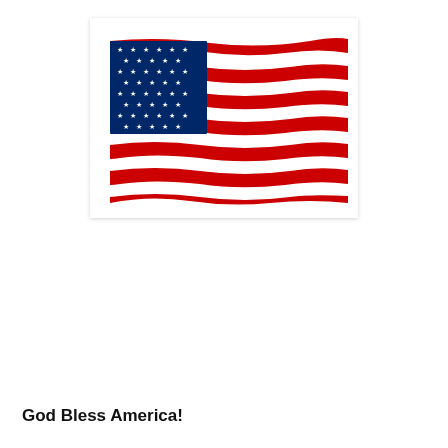[Figure (illustration): A waving American flag illustration with red and white stripes and a blue canton with white stars, shown with a wavy, dynamic appearance as if blowing in the wind.]
God Bless America!